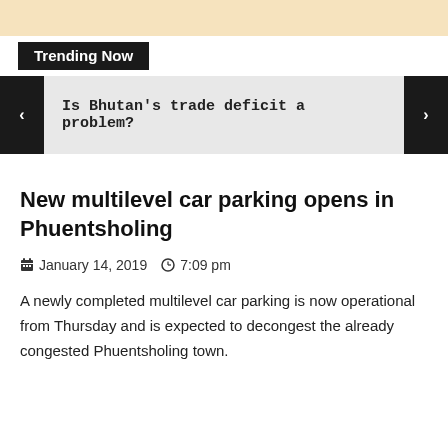Trending Now
Is Bhutan's trade deficit a problem?
New multilevel car parking opens in Phuentsholing
January 14, 2019   7:09 pm
A newly completed multilevel car parking is now operational from Thursday and is expected to decongest the already congested Phuentsholing town.